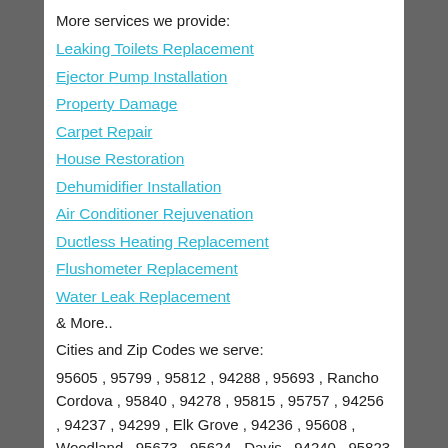More services we provide:
Leaking Toilets Replacement
Ejector Pump Installation
Property Damage
Carpet Repair
House Restoration
Dehumidifier Installation
Air Conditioner Rejuvenation
Ductless Heating Replacement
Flushometer Replacement
Water Leak Replacement
& More..
Cities and Zip Codes we serve:
95605 , 95799 , 95812 , 94288 , 95693 , Rancho Cordova , 95840 , 94278 , 95815 , 95757 , 94256 , 94237 , 94299 , Elk Grove , 94236 , 95608 , Woodland , 95673 , 95624 , Davis , 94240 , 95823 , 95817 , 94252 , 95824 ,